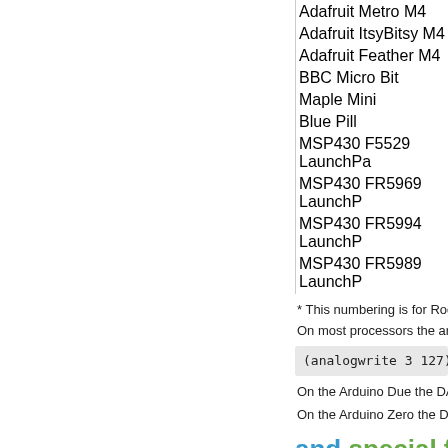| Adafruit Metro M4 |
| Adafruit ItsyBitsy M4 |
| Adafruit Feather M4 |
| BBC Micro Bit |
| Maple Mini |
| Blue Pill |
| MSP430 F5529 LaunchPa… |
| MSP430 FR5969 LaunchP… |
| MSP430 FR5994 LaunchP… |
| MSP430 FR5989 LaunchP… |
* This numbering is for Rog…
On most processors the an…
On the Arduino Due the DA…
On the Arduino Zero the DA…
and special form